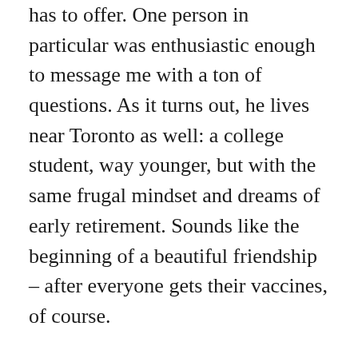has to offer. One person in particular was enthusiastic enough to message me with a ton of questions. As it turns out, he lives near Toronto as well: a college student, way younger, but with the same frugal mindset and dreams of early retirement. Sounds like the beginning of a beautiful friendship – after everyone gets their vaccines, of course.
In covid news, there's a lot going on. The FDA has just approved the Moderna vaccine, which is just as efficient as the Pfizer vaccine, and doesn't need to be stored in super-cold temperatures. That'll make the logistics a lot easier. The logistical angle is strange: multiple states report that they'll get fewer doses of the Pfizer vaccine than they'd been promised. This is different from Trump's refusal to send PPE supplies to the states that voted against him in 2016. This time, states like Iowa and Idaho are affected alongside Maryland and Washington state. Of